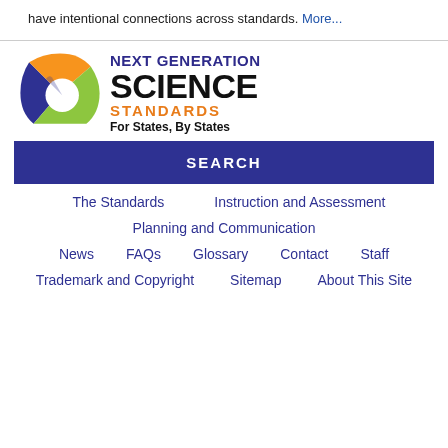have intentional connections across standards. More...
[Figure (logo): Next Generation Science Standards logo with colorful swoosh icon and text: NEXT GENERATION SCIENCE STANDARDS For States, By States]
SEARCH
The Standards
Instruction and Assessment
Planning and Communication
News
FAQs
Glossary
Contact
Staff
Trademark and Copyright
Sitemap
About This Site